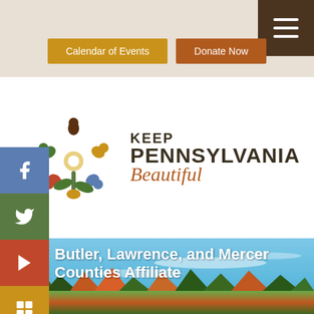Keep Pennsylvania Beautiful - Butler, Lawrence, and Mercer Counties Affiliate
Calendar of Events
Donate Now
[Figure (logo): Keep Pennsylvania Beautiful logo with colorful flower/people icon and organization name text]
Butler, Lawrence, and Mercer Counties Affiliate